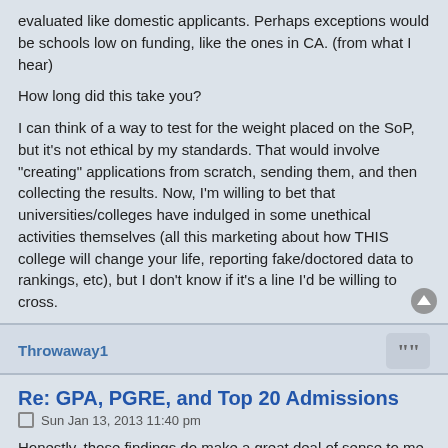evaluated like domestic applicants. Perhaps exceptions would be schools low on funding, like the ones in CA. (from what I hear)
How long did this take you?
I can think of a way to test for the weight placed on the SoP, but it's not ethical by my standards. That would involve "creating" applications from scratch, sending them, and then collecting the results. Now, I'm willing to bet that universities/colleges have indulged in some unethical activities themselves (all this marketing about how THIS college will change your life, reporting fake/doctored data to rankings, etc), but I don't know if it's a line I'd be willing to cross.
Throwaway1
Re: GPA, PGRE, and Top 20 Admissions
Sun Jan 13, 2013 11:40 pm
Honestly, those findings do make a great deal of sense to me. Some speculation:
PGRE matters, but a solid GPA carries more weight (huge gap between 9 and 24 there). At the very least, those numbers suggest that a stronger GPA easily overshadows a lower performance on a single test (perhaps